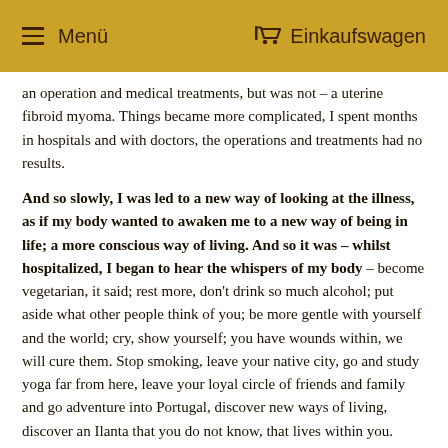Menü    Einkaufswagen
an operation and medical treatments, but was not – a uterine fibroid myoma. Things became more complicated, I spent months in hospitals and with doctors, the operations and treatments had no results.
And so slowly, I was led to a new way of looking at the illness, as if my body wanted to awaken me to a new way of being in life; a more conscious way of living. And so it was – whilst hospitalized, I began to hear the whispers of my body – become vegetarian, it said; rest more, don't drink so much alcohol; put aside what other people think of you; be more gentle with yourself and the world; cry, show yourself; you have wounds within, we will cure them. Stop smoking, leave your native city, go and study yoga far from here, leave your loyal circle of friends and family and go adventure into Portugal, discover new ways of living, discover an Ilanta that you do not know, that lives within you.
Had it not been this awakening, I would now still have the same life-style as then, that was taking me to no place of true